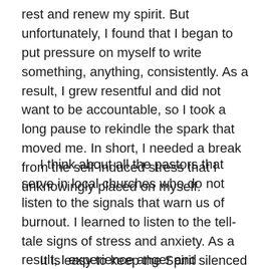rest and renew my spirit. But unfortunately, I found that I began to put pressure on myself to write something, anything, consistently. As a result, I grew resentful and did not want to be accountable, so I took a long pause to rekindle the spark that moved me. In short, I needed a break from the self-induced stress that I unknowingly placed on myself.
I think about all the pastors that serve in local churches who do not listen to the signals that warn us of burnout. I learned to listen to the tell-tale signs of stress and anxiety. As a result, I experience anger and resentment against anything that tries to take my time. It is not a pretty sight, but I learned to hear that inner voice saying, “find rest for your soul.”
It is easy to keep the Spirit silenced as a clergyperson.